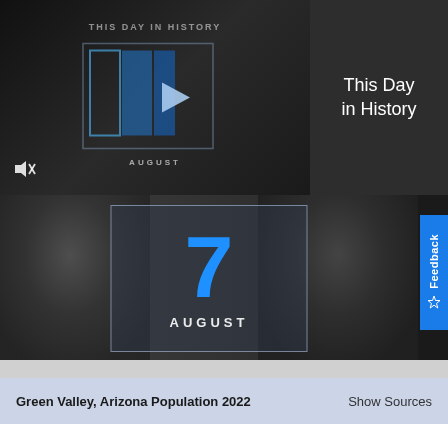[Figure (screenshot): This Day in History video thumbnail showing play icon with blue chevrons and AUGUST label underneath, dark background]
This Day in History
[Figure (photo): Black and white composite photo of people with overlay date box showing '7 AUGUST' in blue and white on dark background]
Feedback
Green Valley, Arizona Population 2022
Show Sources